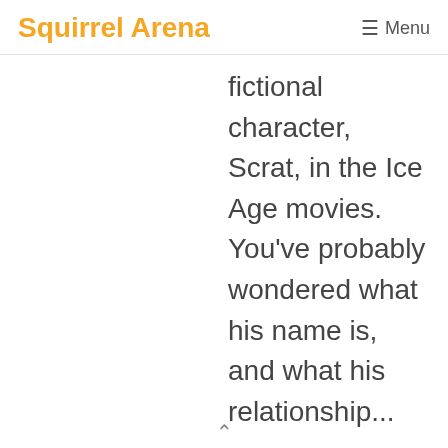Squirrel Arena  ☰ Menu
fictional character, Scrat, in the Ice Age movies. You've probably wondered what his name is, and what his relationship...
What Is The Squirrel From Ice Age
What is the Scrat? We've all heard of Scrat and Flying